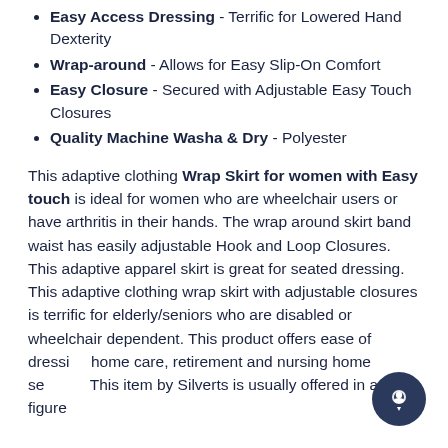Easy Access Dressing - Terrific for Lowered Hand Dexterity
Wrap-around - Allows for Easy Slip-On Comfort
Easy Closure - Secured with Adjustable Easy Touch Closures
Quality Machine Washa & Dry - Polyester
This adaptive clothing Wrap Skirt for women with Easy touch is ideal for women who are wheelchair users or have arthritis in their hands. The wrap around skirt band waist has easily adjustable Hook and Loop Closures. This adaptive apparel skirt is great for seated dressing. This adaptive clothing wrap skirt with adjustable closures is terrific for elderly/seniors who are disabled or wheelchair dependent. This product offers ease of dressing home care, retirement and nursing home settings. This item by Silverts is usually offered in a full figure size.